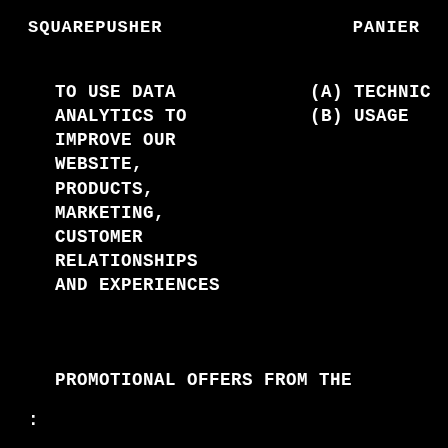SQUAREPUSHER    PANIER
TO USE DATA
ANALYTICS TO
IMPROVE OUR
WEBSITE,
PRODUCTS,
MARKETING,
CUSTOMER
RELATIONSHIPS
AND EXPERIENCES
(A) TECHNIC…
(B) USAGE
PROMOTIONAL OFFERS FROM THE
: